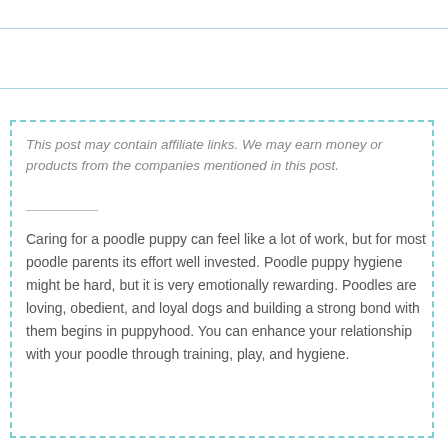This post may contain affiliate links. We may earn money or products from the companies mentioned in this post.
Caring for a poodle puppy can feel like a lot of work, but for most poodle parents its effort well invested. Poodle puppy hygiene might be hard, but it is very emotionally rewarding. Poodles are loving, obedient, and loyal dogs and building a strong bond with them begins in puppyhood. You can enhance your relationship with your poodle through training, play, and hygiene.